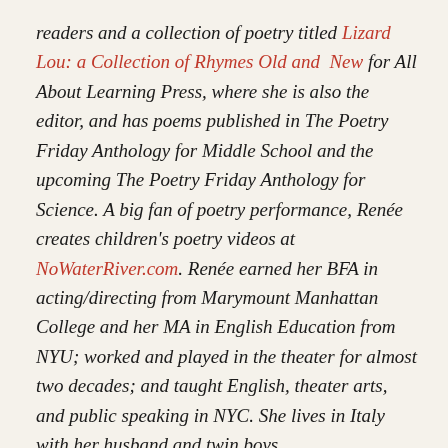readers and a collection of poetry titled Lizard Lou: a Collection of Rhymes Old and New for All About Learning Press, where she is also the editor, and has poems published in The Poetry Friday Anthology for Middle School and the upcoming The Poetry Friday Anthology for Science. A big fan of poetry performance, Renée creates children's poetry videos at NoWaterRiver.com. Renée earned her BFA in acting/directing from Marymount Manhattan College and her MA in English Education from NYU; worked and played in the theater for almost two decades; and taught English, theater arts, and public speaking in NYC. She lives in Italy with her husband and twin boys.